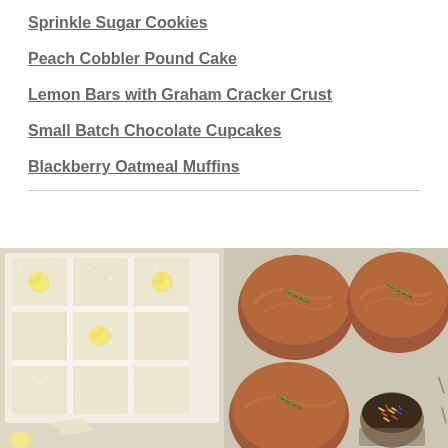Sprinkle Sugar Cookies
Peach Cobbler Pound Cake
Lemon Bars with Graham Cracker Crust
Small Batch Chocolate Cupcakes
Blackberry Oatmeal Muffins
[Figure (photo): Overhead view of lemon bars with graham cracker crust cut into squares, dusted with powdered sugar, with lemon wedge garnishes on white parchment paper]
[Figure (photo): Overhead view of small batch chocolate cupcakes with chocolate frosting on a metal baking sheet, with a small bowl of chocolate sprinkles]